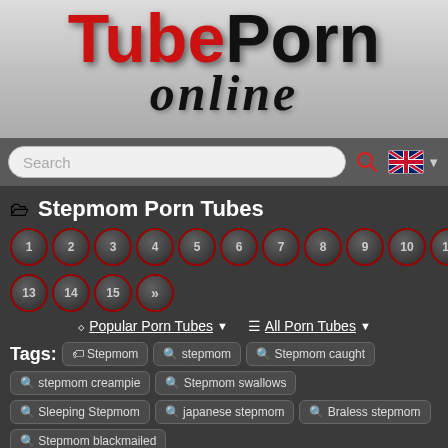[Figure (logo): TubePorn Online website logo with red and black text on silver/grey gradient background]
Search
📁 Stepmom Porn Tubes
Pagination: 1 2 3 4 5 6 7 8 9 10 11 12 13 14 15 »
Popular Porn Tubes  ▾   ☰ All Porn Tubes  ▾
Tags: Stepmom  stepmom  Stepmom caught  stepmom creampie  Stepmom swallows  Sleeping Stepmom  japanese stepmom  Braless stepmom  Stepmom blackmailed